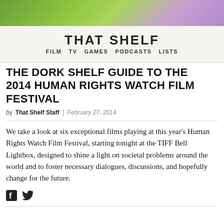[Figure (photo): Green and purple blurred background image at top of page]
THAT SHELF — FILM  TV  GAMES  PODCASTS  LISTS
THE DORK SHELF GUIDE TO THE 2014 HUMAN RIGHTS WATCH FILM FESTIVAL
by That Shelf Staff | February 27, 2014
We take a look at six exceptional films playing at this year's Human Rights Watch Film Festival, starting tonight at the TIFF Bell Lightbox, designed to shine a light on societal problems around the world and to foster necessary dialogues, discussions, and hopefully change for the future.
[Figure (illustration): Facebook and Twitter social media icons]